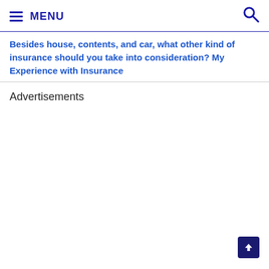≡ MENU 🔍
Besides house, contents, and car, what other kind of insurance should you take into consideration? My Experience with Insurance
Advertisements